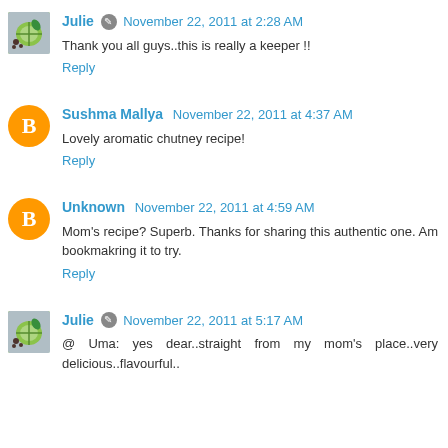Julie November 22, 2011 at 2:28 AM
Thank you all guys..this is really a keeper !!
Reply
Sushma Mallya November 22, 2011 at 4:37 AM
Lovely aromatic chutney recipe!
Reply
Unknown November 22, 2011 at 4:59 AM
Mom's recipe? Superb. Thanks for sharing this authentic one. Am bookmakring it to try.
Reply
Julie November 22, 2011 at 5:17 AM
@ Uma: yes dear..straight from my mom's place..very delicious..flavourful..